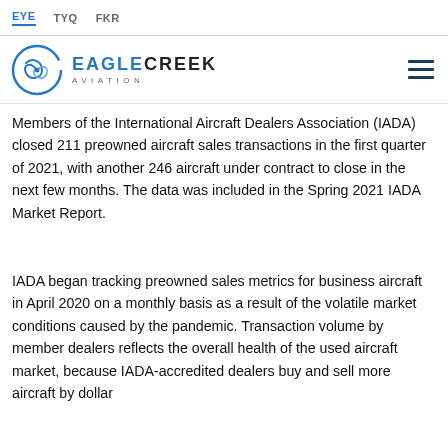EYE   TYQ   FKR
[Figure (logo): Eagle Creek Aviation logo with circular swirl emblem and text EAGLECREEK AVIATION, plus hamburger menu icon on the right]
Members of the International Aircraft Dealers Association (IADA) closed 211 preowned aircraft sales transactions in the first quarter of 2021, with another 246 aircraft under contract to close in the next few months. The data was included in the Spring 2021 IADA Market Report.
IADA began tracking preowned sales metrics for business aircraft in April 2020 on a monthly basis as a result of the volatile market conditions caused by the pandemic. Transaction volume by member dealers reflects the overall health of the used aircraft market, because IADA-accredited dealers buy and sell more aircraft by dollar